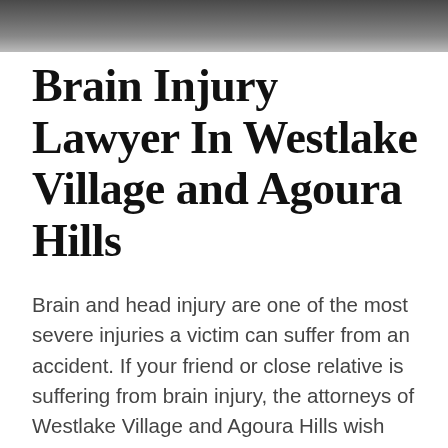[Figure (photo): Decorative dark photo banner at the top of the page, partially visible, appears to show a person or blurred scene in dark tones.]
Brain Injury Lawyer In Westlake Village and Agoura Hills
Brain and head injury are one of the most severe injuries a victim can suffer from an accident. If your friend or close relative is suffering from brain injury, the attorneys of Westlake Village and Agoura Hills wish them a quick recovery. If the injury is as a result of laxity by other people or the responsible insurance company is not willing to compensate the suffering and losses